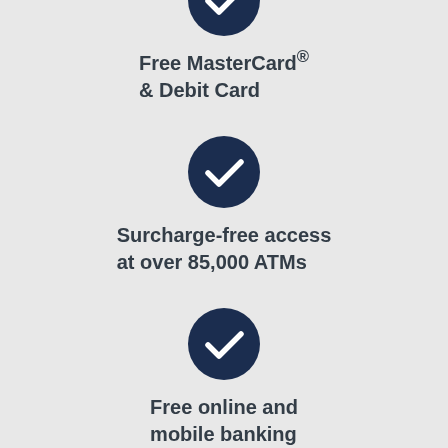[Figure (illustration): Dark navy blue circle with white checkmark icon — partially visible at top of page]
Free MasterCard® & Debit Card
[Figure (illustration): Dark navy blue circle with white checkmark icon]
Surcharge-free access at over 85,000 ATMs
[Figure (illustration): Dark navy blue circle with white checkmark icon]
Free online and mobile banking